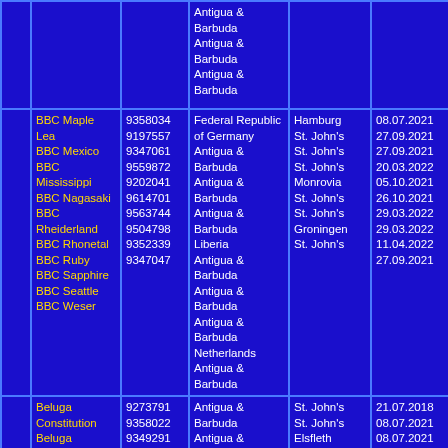|  | Vessel Name | IMO Number | Flag State | Port | Date |
| --- | --- | --- | --- | --- | --- |
|  |  |  | Antigua & Barbuda
Antigua & Barbuda
Antigua & Barbuda |  |  |
|  | BBC Maple Lea
BBC Mexico
BBC Mississippi
BBC Nagasaki
BBC Rheiderland
BBC Rhonetal
BBC Ruby
BBC Sapphire
BBC Seattle
BBC Weser | 9358034
9197557
9347061
9559872
9202041
9614701
9563744
9504798
9352339
9347047 | Federal Republic of Germany
Antigua & Barbuda
Antigua & Barbuda
Antigua & Barbuda
Liberia
Antigua & Barbuda
Antigua & Barbuda
Antigua & Barbuda
Netherlands
Antigua & Barbuda | Hamburg
St. John's
St. John's
St. John's
Monrovia
St. John's
St. John's
Groningen
St. John's | 08.07.2021
27.09.2021
27.09.2021
20.03.2022
05.10.2021
26.10.2021
29.03.2022
29.03.2022
11.04.2022
27.09.2021 |
|  | Beluga Constitution
Beluga Fascination
Beluga Foundation
Beluga | 9273791
9358022
9349291
9277280
9465411
7704473
7708895 | Antigua & Barbuda
Antigua & Barbuda
Antigua & Barbuda
Federal | St. John's
St. John's
Elsfleth
Majuro
Limassol
Limassol | 21.07.2018
08.07.2021
08.07.2021
08.11.2019
26.10.2021
19.11.2014
19.11.2014 |